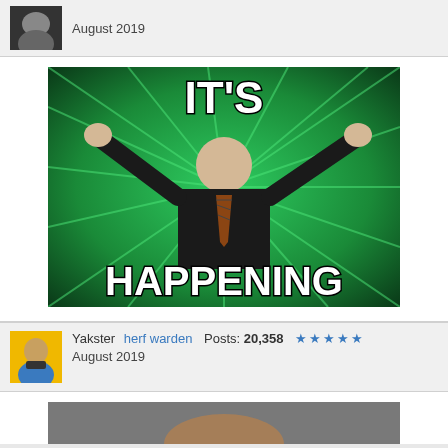August 2019
[Figure (photo): Meme image with green radial burst background showing an elderly man in a suit with arms raised. Text reads 'IT'S' at top and 'HAPPENING' at bottom in bold white letters.]
Yakster herf warden Posts: 20,358 ★★★★★ August 2019
[Figure (photo): Partial image visible at bottom of page.]